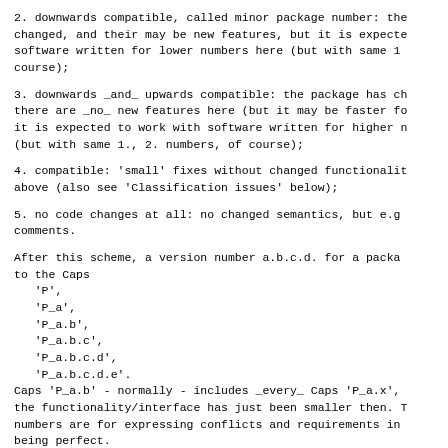2. downwards compatible, called minor package number: the changed, and their may be new features, but it is expecte software written for lower numbers here (but with same 1 course);
3. downwards _and_ upwards compatible: the package has ch there are _no_ new features here (but it may be faster fo it is expected to work with software written for higher n (but with same 1., 2. numbers, of course);
4. compatible: 'small' fixes without changed functionalit above (also see 'Classification issues' below);
5. no code changes at all: no changed semantics, but e.g comments.
After this scheme, a version number a.b.c.d. for a packa to the Caps
   'P',
   'P_a',
   'P_a.b',
   'P_a.b.c',
   'P_a.b.c.d',
   'P_a.b.c.d.e'.
Caps 'P_a.b' - normally - includes _every_ Caps 'P_a.x', the functionality/interface has just been smaller then. T numbers are for expressing conflicts and requirements in being perfect.
This means, we finally have defined a relationship betwee